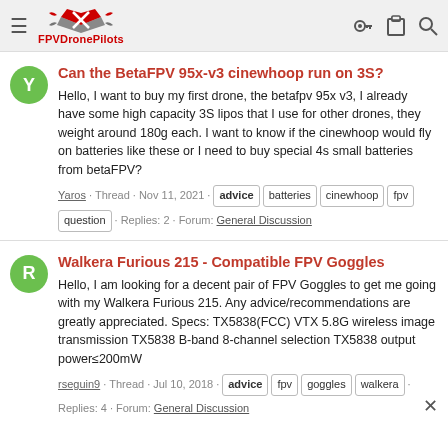FPVDronePilots
Can the BetaFPV 95x-v3 cinewhoop run on 3S?
Hello, I want to buy my first drone, the betafpv 95x v3, I already have some high capacity 3S lipos that I use for other drones, they weight around 180g each. I want to know if the cinewhoop would fly on batteries like these or I need to buy special 4s small batteries from betaFPV?
Yaros · Thread · Nov 11, 2021 · advice · batteries · cinewhoop · fpv · question · Replies: 2 · Forum: General Discussion
Walkera Furious 215 - Compatible FPV Goggles
Hello, I am looking for a decent pair of FPV Goggles to get me going with my Walkera Furious 215. Any advice/recommendations are greatly appreciated. Specs: TX5838(FCC) VTX 5.8G wireless image transmission TX5838 B-band 8-channel selection TX5838 output power≤200mW
rseguin9 · Thread · Jul 10, 2018 · advice · fpv · goggles · walkera · Replies: 4 · Forum: General Discussion